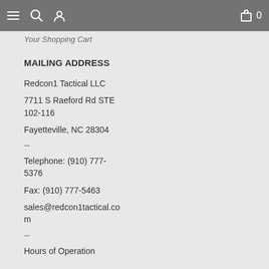Navigation bar with menu, search, user, and cart (0) icons
Your Shopping Cart
MAILING ADDRESS
Redcon1 Tactical LLC
7711 S Raeford Rd STE 102-116
Fayetteville, NC 28304
--
Telephone: (910) 777-5376
Fax: (910) 777-5463
sales@redcon1tactical.com
--
Hours of Operation